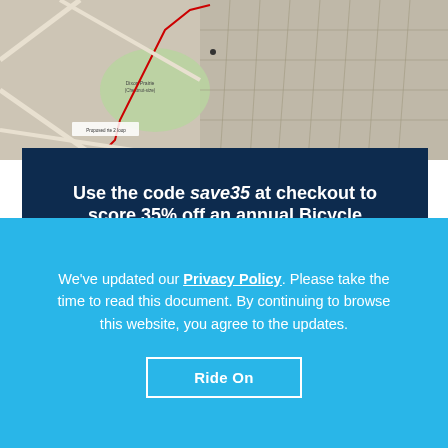[Figure (map): Aerial/street map showing residential neighborhood with streets, parcels, and a green area labeled 'Dixon Prairie (Chestnut-size)'. A red route line is visible on the map.]
Use the code save35 at checkout to score 35% off an annual Bicycle
We've updated our Privacy Policy. Please take the time to read this document. By continuing to browse this website, you agree to the updates.
Ride On